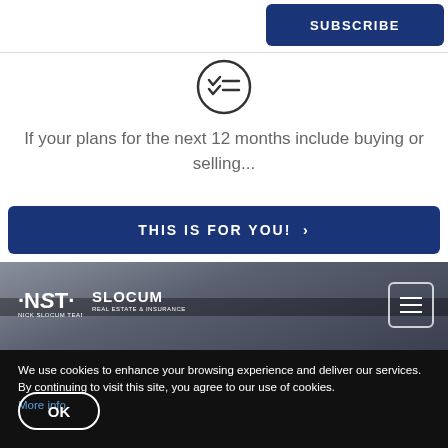[Figure (illustration): Checklist icon in a circle with checkmarks and lines]
If your plans for the next 12 months include buying or selling...
THIS IS FOR YOU! >
[Figure (photo): Photo of a car interior/dashboard, dark background. Slocum Real Estate & Insurance logo and navigation hamburger menu visible.]
We use cookies to enhance your browsing experience and deliver our services. By continuing to visit this site, you agree to our use of cookies. More info
OK